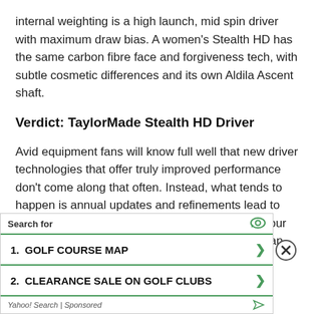internal weighting is a high launch, mid spin driver with maximum draw bias. A women's Stealth HD has the same carbon fibre face and forgiveness tech, with subtle cosmetic differences and its own Aldila Ascent shaft.
Verdict: TaylorMade Stealth HD Driver
Avid equipment fans will know full well that new driver technologies that offer truly improved performance don't come along that often. Instead, what tends to happen is annual updates and refinements lead to incremental gains each year. So, if you update your driver every five years it's highly likely you'll see an improvement in ball
[Figure (other): Yahoo Search sponsored advertisement banner with two search result items: 1. GOLF COURSE MAP and 2. CLEARANCE SALE ON GOLF CLUBS, with a close button]